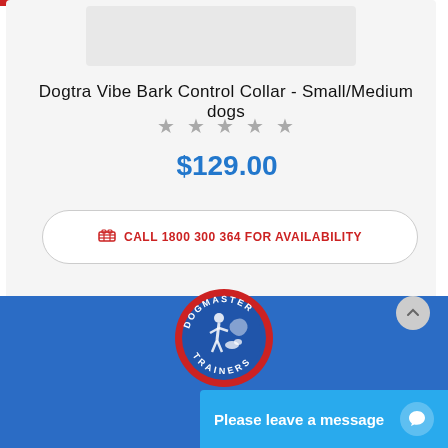Dogtra Vibe Bark Control Collar - Small/Medium dogs
★★★★★
$129.00
CALL 1800 300 364 FOR AVAILABILITY
[Figure (logo): Dogmaster Trainers circular logo with red border and blue background, showing a person training a dog with Australia map silhouette]
Please leave a message